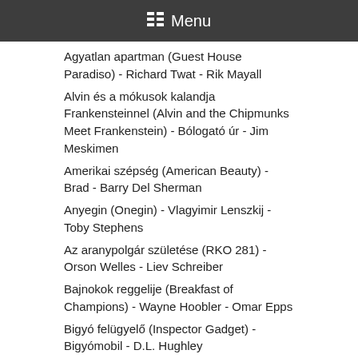Menu
Agyatlan apartman (Guest House Paradiso) - Richard Twat - Rik Mayall
Alvin és a mókusok kalandja Frankensteinnel (Alvin and the Chipmunks Meet Frankenstein) - Bólogató úr - Jim Meskimen
Amerikai szépség (American Beauty) - Brad - Barry Del Sherman
Anyegin (Onegin) - Vlagyimir Lenszkij - Toby Stephens
Az aranypolgár születése (RKO 281) - Orson Welles - Liev Schreiber
Bajnokok reggelije (Breakfast of Champions) - Wayne Hoobler - Omar Epps
Bigyó felügyelő (Inspector Gadget) - Bigyómobil - D.L. Hughley
Borzalmak szigete (Primal Force) - Scott Davis -